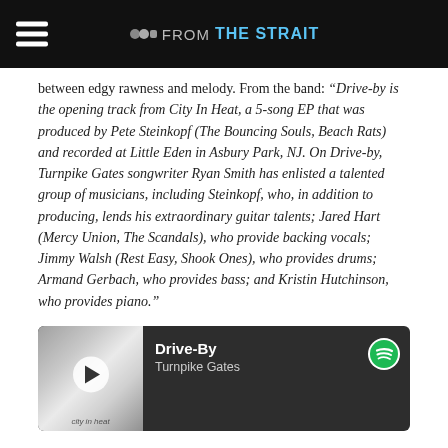FROM THE STRAIT
between edgy rawness and melody. From the band: “Drive-by is the opening track from City In Heat, a 5-song EP that was produced by Pete Steinkopf (The Bouncing Souls, Beach Rats) and recorded at Little Eden in Asbury Park, NJ. On Drive-by, Turnpike Gates songwriter Ryan Smith has enlisted a talented group of musicians, including Steinkopf, who, in addition to producing, lends his extraordinary guitar talents; Jared Hart (Mercy Union, The Scandals), who provide backing vocals; Jimmy Walsh (Rest Easy, Shook Ones), who provides drums; Armand Gerbach, who provides bass; and Kristin Hutchinson, who provides piano.”
[Figure (other): Spotify music player widget showing Drive-By by Turnpike Gates with album art, play button, progress bar, and share icon]